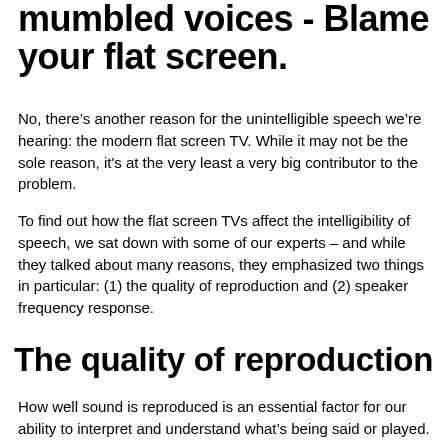mumbled voices - Blame your flat screen.
No, there’s another reason for the unintelligible speech we’re hearing: the modern flat screen TV. While it may not be the sole reason, it's at the very least a very big contributor to the problem.
To find out how the flat screen TVs affect the intelligibility of speech, we sat down with some of our experts – and while they talked about many reasons, they emphasized two things in particular: (1) the quality of reproduction and (2) speaker frequency response.
The quality of reproduction
How well sound is reproduced is an essential factor for our ability to interpret and understand what’s being said or played.